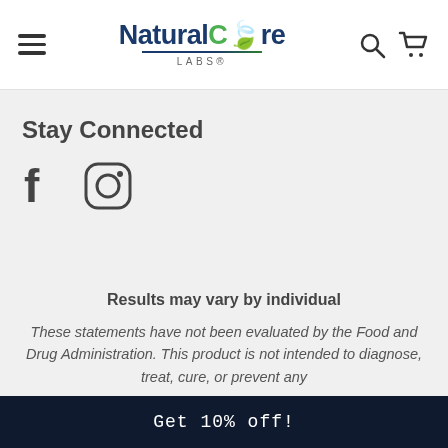NaturalCure Labs
Stay Connected
[Figure (other): Facebook and Instagram social media icons]
Results may vary by individual
These statements have not been evaluated by the Food and Drug Administration. This product is not intended to diagnose, treat, cure, or prevent any
Get 10% off!